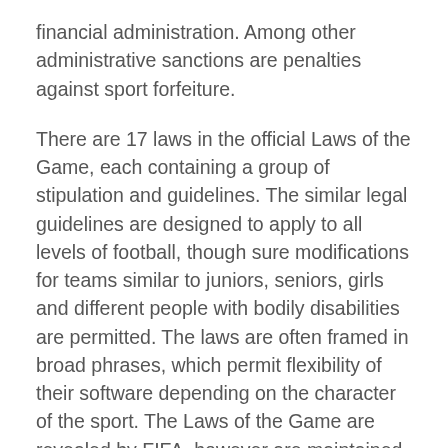financial administration. Among other administrative sanctions are penalties against sport forfeiture.
There are 17 laws in the official Laws of the Game, each containing a group of stipulation and guidelines. The similar legal guidelines are designed to apply to all levels of football, though sure modifications for teams similar to juniors, seniors, girls and different people with bodily disabilities are permitted. The laws are often framed in broad phrases, which permit flexibility of their software depending on the character of the sport. The Laws of the Game are revealed by FIFA, however are maintained by the International Football Association Board . In addition to the seventeen laws, numerous IFAB decisions and different directives contribute to the regulation of soccer. These positions are further subdivided according to the realm of the field during which the participant spends essentially the most time.
As issues stand, video games scheduled to take place on Saturday, including Ajax's Estegost Will all occur on the...